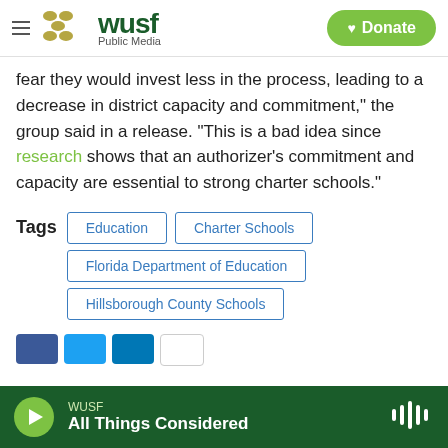WUSF Public Media | Donate
fear they would invest less in the process, leading to a decrease in district capacity and commitment," the group said in a release. "This is a bad idea since research shows that an authorizer's commitment and capacity are essential to strong charter schools."
Tags: Education | Charter Schools | Florida Department of Education | Hillsborough County Schools
WUSF — All Things Considered